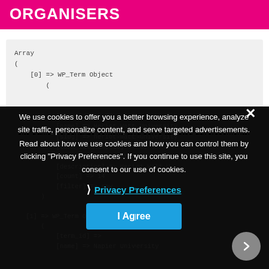ORGANISERS
Array
(
    [0] => WP_Term Object
        (
            [term_id] => 92
            [name] => Heriot-Watt University
            ...
We use cookies to offer you a better browsing experience, analyze site traffic, personalize content, and serve targeted advertisements. Read about how we use cookies and how you can control them by clicking "Privacy Preferences". If you continue to use this site, you consent to our use of cookies.
Privacy Preferences
I Agree